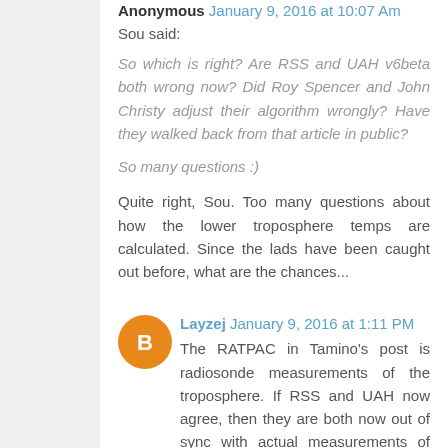Anonymous January 9, 2016 at 10:07 Am
Sou said:
So which is right? Are RSS and UAH v6beta both wrong now? Did Roy Spencer and John Christy adjust their algorithm wrongly? Have they walked back from that article in public?
So many questions :)
Quite right, Sou. Too many questions about how the lower troposphere temps are calculated. Since the lads have been caught out before, what are the chances...
Layzej January 9, 2016 at 1:11 PM
The RATPAC in Tamino's post is radiosonde measurements of the troposphere. If RSS and UAH now agree, then they are both now out of sync with actual measurements of tropospheric temperatures: